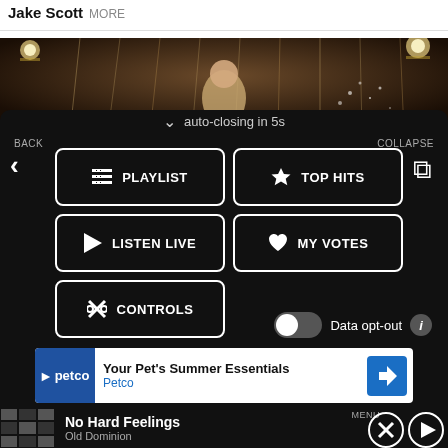Jake Scott MORE
[Figure (photo): A performer on stage with chandeliers and sparkly background]
auto-closing in 5s
BACK
COLLAPSE
PLAYLIST
TOP HITS
LISTEN LIVE
MY VOTES
CONTROLS
Data opt-out
[Figure (screenshot): Petco ad banner: Your Pet's Summer Essentials]
No Hard Feelings
Old Dominion
MENU